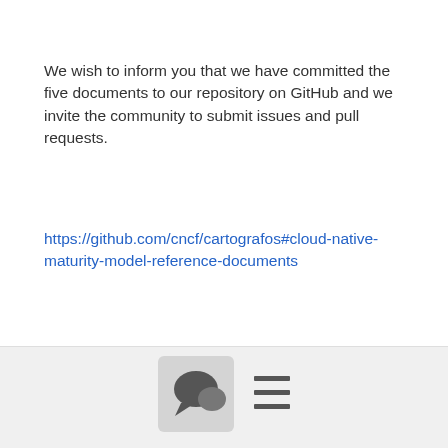We wish to inform you that we have committed the five documents to our repository on GitHub and we invite the community to submit issues and pull requests.
https://github.com/cncf/cartografos#cloud-native-maturity-model-reference-documents
Our next step for the model is to add supplementary material to GitHub, and we expect to commence work with TAGs and Projects within the CNCF to ensure ongoing effective representation of projects within the model over time. We anticipate the model will evolve quickly, and we hope that it becomes a very useful tool for end users, as well as community members and contributors.
[Figure (other): Footer bar with a chat bubble icon button on the left and a hamburger menu icon on the right]